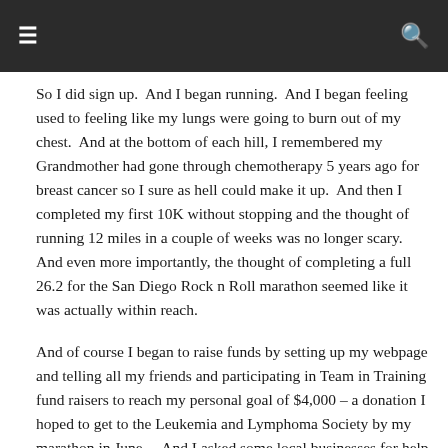☰  🔍
So I did sign up.  And I began running.  And I began feeling used to feeling like my lungs were going to burn out of my chest.  And at the bottom of each hill, I remembered my Grandmother had gone through chemotherapy 5 years ago for breast cancer so I sure as hell could make it up.  And then I completed my first 10K without stopping and the thought of running 12 miles in a couple of weeks was no longer scary.  And even more importantly, the thought of completing a full 26.2 for the San Diego Rock n Roll marathon seemed like it was actually within reach.
And of course I began to raise funds by setting up my webpage and telling all my friends and participating in Team in Training fund raisers to reach my personal goal of $4,000 – a donation I hoped to get to the Leukemia and Lymphoma Society by my marathon in June.    And I asked some local businesses for help (shout out to Art of Touch Massage in Midtown <Atlanta> and